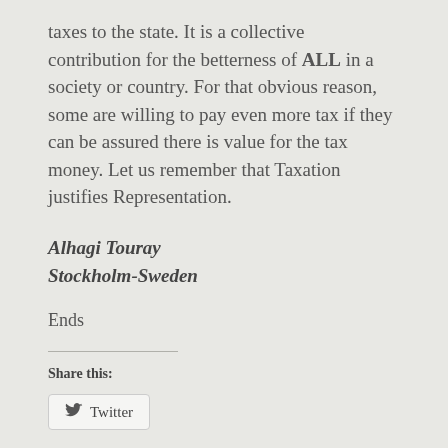taxes to the state. It is a collective contribution for the betterness of ALL in a society or country. For that obvious reason, some are willing to pay even more tax if they can be assured there is value for the tax money. Let us remember that Taxation justifies Representation.
Alhagi Touray
Stockholm-Sweden
Ends
Share this:
[Figure (other): Twitter share button with bird icon]
Like this: